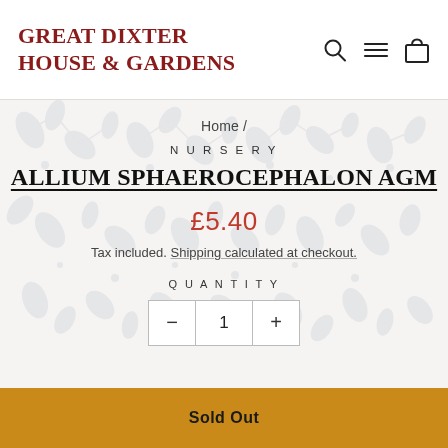GREAT DIXTER HOUSE & GARDENS
Home /
NURSERY
ALLIUM SPHAEROCEPHALON AGM
£5.40
Tax included. Shipping calculated at checkout.
QUANTITY
− 1 +
Sold Out